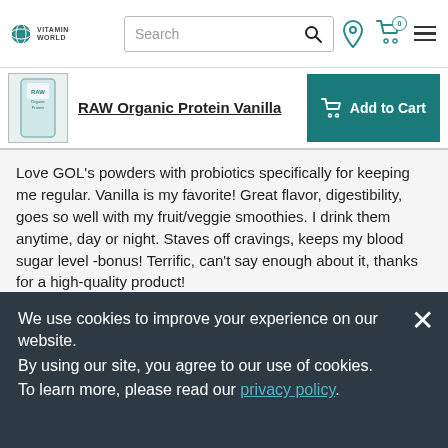VITAMIN WORLD | Search | location icon | cart (0) | menu
[Figure (screenshot): Product strip showing RAW Organic Protein Vanilla with Add to Cart button]
Love GOL's powders with probiotics specifically for keeping me regular. Vanilla is my favorite! Great flavor, digestibility, goes so well with my fruit/veggie smoothies. I drink them anytime, day or night. Staves off cravings, keeps my blood sugar level -bonus! Terrific, can't say enough about it, thanks for a high-quality product!
Originally posted on Garden of Life
We use cookies to improve your experience on our website.
By using our site, you agree to our use of cookies.
To learn more, please read our privacy policy.